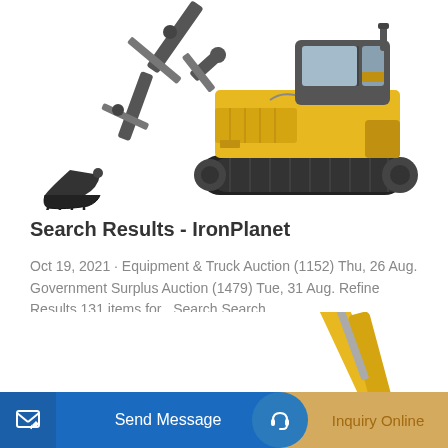[Figure (photo): Yellow and black tracked excavator/crawler excavator on white background, showing boom arm extended to left with bucket, and cab/body to the right on rubber tracks.]
Search Results - IronPlanet
Oct 19, 2021 · Equipment & Truck Auction (1152) Thu, 26 Aug. Government Surplus Auction (1479) Tue, 31 Aug. Refine Results 131 items for . Search Search ....
Learn More
[Figure (photo): Partial view of yellow construction machinery arm/boom at bottom of page.]
Send Message
Inquiry Online